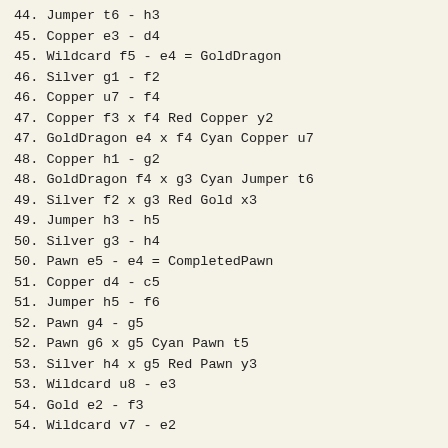44. Jumper t6 - h3
45. Copper e3 - d4
45. Wildcard f5 - e4 = GoldDragon
46. Silver g1 - f2
46. Copper u7 - f4
47. Copper f3 x f4 Red Copper y2
47. GoldDragon e4 x f4 Cyan Copper u7
48. Copper h1 - g2
48. GoldDragon f4 x g3 Cyan Jumper t6
49. Silver f2 x g3 Red Gold x3
49. Jumper h3 - h5
50. Silver g3 - h4
50. Pawn e5 - e4 = CompletedPawn
51. Copper d4 - c5
51. Jumper h5 - f6
52. Pawn g4 - g5
52. Pawn g6 x g5 Cyan Pawn t5
53. Silver h4 x g5 Red Pawn y3
53. Wildcard u8 - e3
54. Gold e2 - f3
54. Wildcard v7 - e2